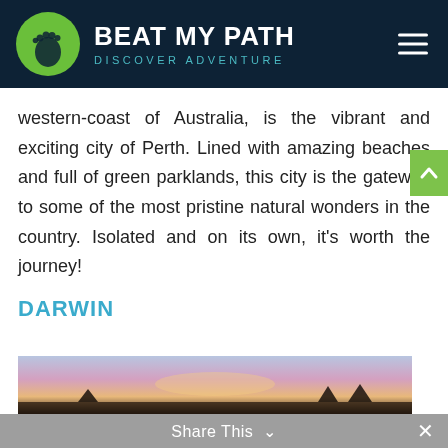BEAT MY PATH DISCOVER ADVENTURE
western-coast of Australia, is the vibrant and exciting city of Perth. Lined with amazing beaches and full of green parklands, this city is the gateway to some of the most pristine natural wonders in the country. Isolated and on its own, it's worth the journey!
DARWIN
[Figure (photo): Sunset or sunrise landscape photo, partially visible at the bottom of the page]
Share This ∨   ×